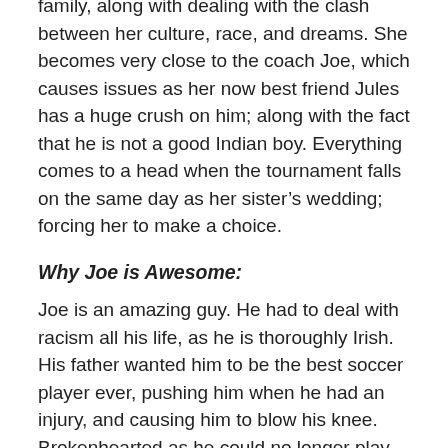family, along with dealing with the clash between her culture, race, and dreams. She becomes very close to the coach Joe, which causes issues as her now best friend Jules has a huge crush on him; along with the fact that he is not a good Indian boy. Everything comes to a head when the tournament falls on the same day as her sister's wedding; forcing her to make a choice.
Why Joe is Awesome:
Joe is an amazing guy. He had to deal with racism all his life, as he is thoroughly Irish. His father wanted him to be the best soccer player ever, pushing him when he had an injury, and causing him to blow his knee. Brokenhearted as he could no longer play, he instead took over the job of coaching, starting a girl's league. He is kind and sweet; yet still tough and great at working with the girls to achieve their maximum levels.